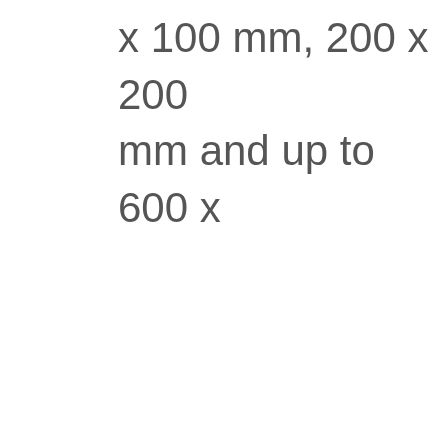x 100 mm, 200 x 200 mm and up to 600 x